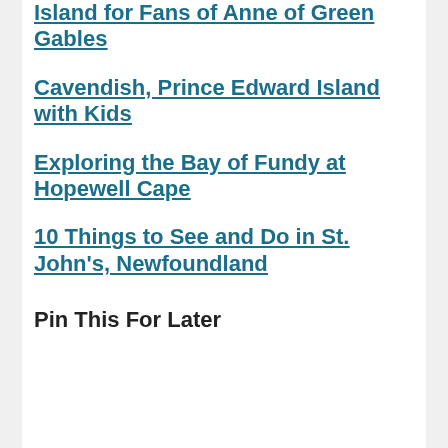Island for Fans of Anne of Green Gables
Cavendish, Prince Edward Island with Kids
Exploring the Bay of Fundy at Hopewell Cape
10 Things to See and Do in St. John's, Newfoundland
Pin This For Later